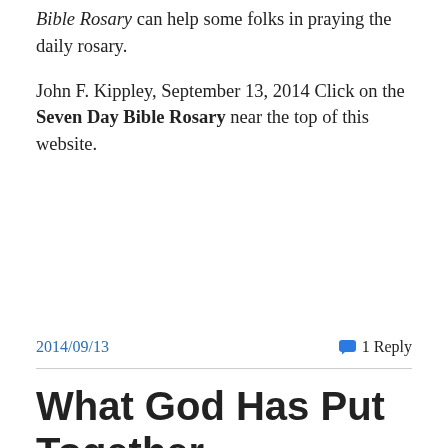Bible Rosary can help some folks in praying the daily rosary.
John F. Kippley, September 13, 2014 Click on the Seven Day Bible Rosary near the top of this website.
2014/09/13
1 Reply
What God Has Put Together
Every informed Christian is aware that even in the Catholic Church today there are significant efforts to undermine the teaching of Jesus about the permanence of marriage.